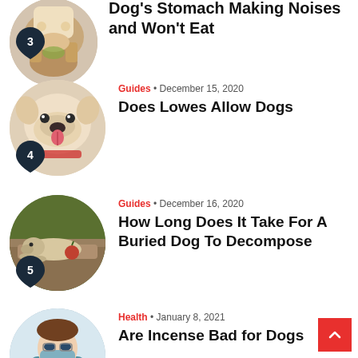Dog's Stomach Making Noises and Won't Eat
Guides • December 15, 2020
Does Lowes Allow Dogs
Guides • December 16, 2020
How Long Does It Take For A Buried Dog To Decompose
Health • January 8, 2021
Are Incense Bad for Dogs